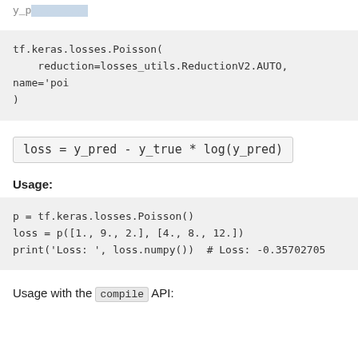y_p...
tf.keras.losses.Poisson(
    reduction=losses_utils.ReductionV2.AUTO, name='poi
)
Usage:
p = tf.keras.losses.Poisson()
loss = p([1., 9., 2.], [4., 8., 12.])
print('Loss: ', loss.numpy())  # Loss: -0.35702705
Usage with the compile API: